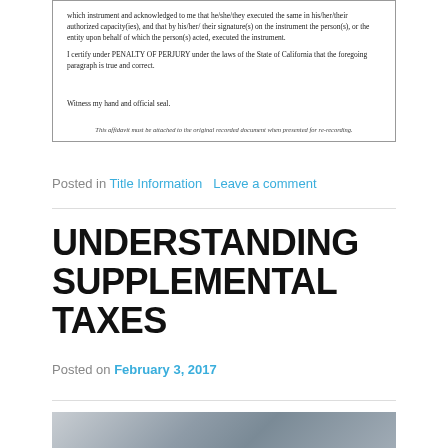...which instrument and acknowledged to me that he/she/they executed the same in his/her/their authorized capacity(ies), and that by his/her/ their signature(s) on the instrument the person(s), or the entity upon behalf of which the person(s) acted, executed the instrument.

I certify under PENALTY OF PERJURY under the laws of the State of California that the foregoing paragraph is true and correct.

Witness my hand and official seal.
This affidavit must be attached to the original recorded document when presented for re-recording.
Posted in Title Information   Leave a comment
UNDERSTANDING SUPPLEMENTAL TAXES
Posted on February 3, 2017
[Figure (photo): Partial photo strip at bottom of page, showing a blurred or cropped photograph]